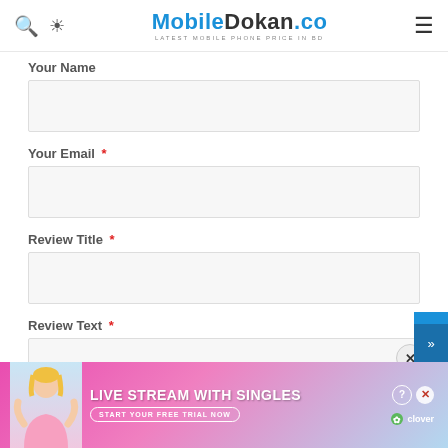MobileDokan.co — Latest Mobile Phone Price in BD
Your Name
Your Email *
Review Title *
Review Text *
[Figure (screenshot): Advertisement banner: LIVE STREAM WITH SINGLES — START YOUR FREE TRIAL NOW — Clover]